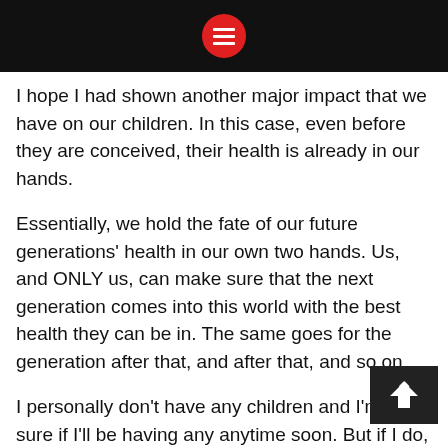[Menu icon - red circle with hamburger lines]
I hope I had shown another major impact that we have on our children. In this case, even before they are conceived, their health is already in our hands.
Essentially, we hold the fate of our future generations' health in our own two hands. Us, and ONLY us, can make sure that the next generation comes into this world with the best health they can be in. The same goes for the generation after that, and after that, and so on.
I personally don't have any children and I'm not sure if I'll be having any anytime soon. But if I do, you can bet that I'll be doing everything I can as a parent to have a healthy child.
Will you be doing the same? Or have you been doing so already?